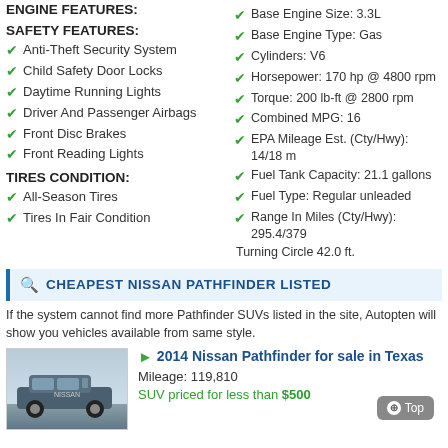ENGINE FEATURES:
SAFETY FEATURES:
Anti-Theft Security System
Child Safety Door Locks
Daytime Running Lights
Driver And Passenger Airbags
Front Disc Brakes
Front Reading Lights
TIRES CONDITION:
All-Season Tires
Tires In Fair Condition
Base Engine Size: 3.3L
Base Engine Type: Gas
Cylinders: V6
Horsepower: 170 hp @ 4800 rpm
Torque: 200 lb-ft @ 2800 rpm
Combined MPG: 16
EPA Mileage Est. (Cty/Hwy): 14/18 m
Fuel Tank Capacity: 21.1 gallons
Fuel Type: Regular unleaded
Range In Miles (Cty/Hwy): 295.4/379
Turning Circle 42.0 ft.
CHEAPEST NISSAN PATHFINDER LISTED
If the system cannot find more Pathfinder SUVs listed in the site, Autopten will show you vehicles available from same style.
2014 Nissan Pathfinder for sale in Texas
Mileage: 119,810
SUV priced for less than $500